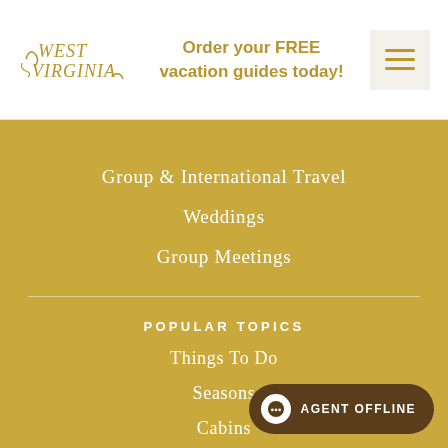[Figure (logo): West Virginia state tourism logo in gold cursive script]
Order your FREE vacation guides today!
Group & International Travel
Weddings
Group Meetings
POPULAR TOPICS
Things To Do
Seasons
Cabins
Hiking
AGENT OFFLINE